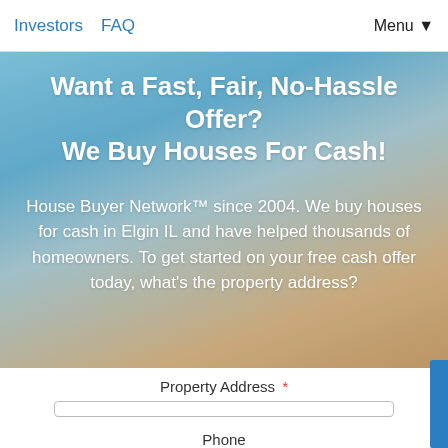Investors  FAQ  Menu▼
Want a Fast, Fair, No-Hassle Offer?
We Buy Houses For Cash!
House Buyer Network™ since 2004. We buy houses for cash in Elgin IL and have helped thousands of homeowners. To get started on your free cash offer today, what's the property address?
Property Address *
Phone